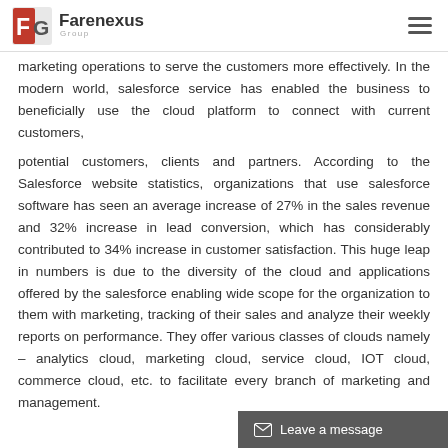Farenexus Group
marketing operations to serve the customers more effectively. In the modern world, salesforce service has enabled the business to beneficially use the cloud platform to connect with current customers,
potential customers, clients and partners. According to the Salesforce website statistics, organizations that use salesforce software has seen an average increase of 27% in the sales revenue and 32% increase in lead conversion, which has considerably contributed to 34% increase in customer satisfaction. This huge leap in numbers is due to the diversity of the cloud and applications offered by the salesforce enabling wide scope for the organization to them with marketing, tracking of their sales and analyze their weekly reports on performance. They offer various classes of clouds namely – analytics cloud, marketing cloud, service cloud, IOT cloud, commerce cloud, etc. to facilitate every branch of marketing and management.